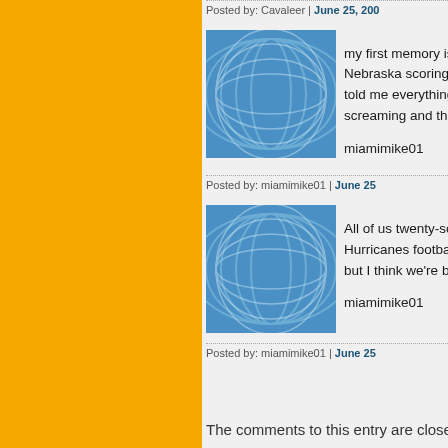Posted by: Cavaleer | June 25, 200...
[Figure (illustration): Blue circular arc pattern avatar image for user miamimike01]
my first memory is 1984 Oran... Nebraska scoring, crying my ... told me everything was gonn... screaming and threw me into...
miamimike01
Posted by: miamimike01 | June 25...
[Figure (illustration): Blue circular arc pattern avatar image for user miamimike01]
All of us twenty-somethings a... Hurricanes football. It's all I r... but I think we're back on trac...
miamimike01
Posted by: miamimike01 | June 25...
« Pre...
The comments to this entry are closed.